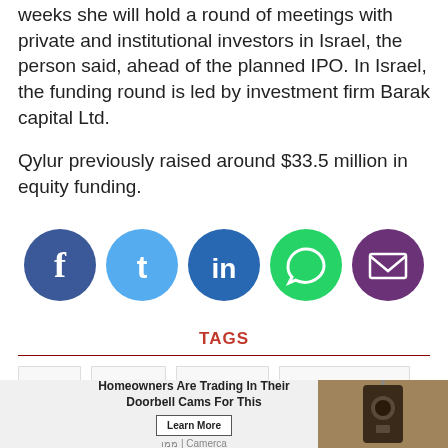weeks she will hold a round of meetings with private and institutional investors in Israel, the person said, ahead of the planned IPO. In Israel, the funding round is led by investment firm Barak capital Ltd.
Qylur previously raised around $33.5 million in equity funding.
[Figure (infographic): Social media share buttons: Facebook (blue circle), Twitter (light blue circle), LinkedIn (dark blue circle), WhatsApp (green circle), Email (purple circle)]
TAGS
IPO
Qylur
Canada
TSX Venture
[Figure (infographic): Advertisement bar: Homeowners Are Trading In Their Doorbell Cams For This - Learn More - Camerca, with image of outdoor lamp]